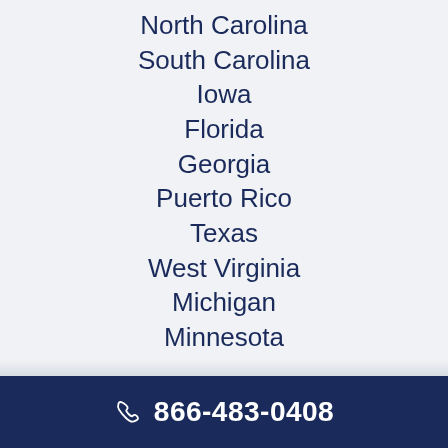North Carolina
South Carolina
Iowa
Florida
Georgia
Puerto Rico
Texas
West Virginia
Michigan
Minnesota
Indiana
Ohio
866-483-0408